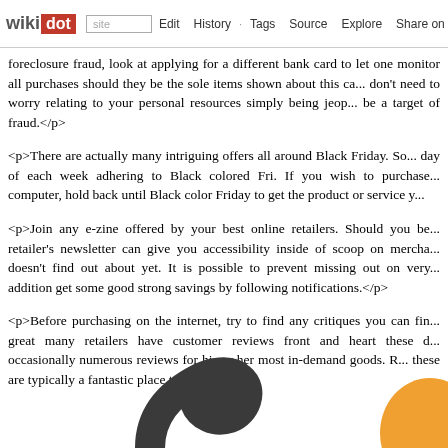wikidot | site | Edit | History | Tags | Source | Explore | Share on [Twitter]
foreclosure fraud, look at applying for a different bank card to let one monitor all purchases should they be the sole items shown about this ca... don't need to worry relating to your personal resources simply being jeop... be a target of fraud.</p>
<p>There are actually many intriguing offers all around Black Friday. So... day of each week adhering to Black colored Fri. If you wish to purchase... computer, hold back until Black color Friday to get the product or service y...
<p>Join any e-zine offered by your best online retailers. Should you be... retailer's newsletter can give you accessibility inside of scoop on mercha... doesn't find out about yet. It is possible to prevent missing out on very... addition get some good strong savings by following notifications.</p>
<p>Before purchasing on the internet, try to find any critiques you can fin... great many retailers have customer reviews front and heart these d... occasionally numerous reviews for his or her most in-demand goods. R... these are typically a fantastic place to begin.</p>
[Figure (illustration): Decorative shapes: dark grey curved/hook shape on the left and orange rounded shape on the right at the bottom of the page.]